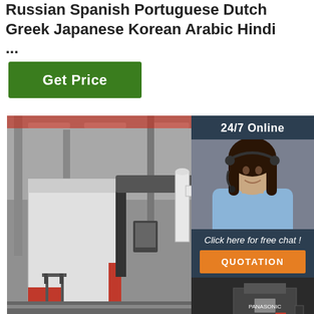Russian Spanish Portuguese Dutch Greek Japanese Korean Arabic Hindi ...
Get Price
[Figure (photo): Industrial CNC welding or cutting machine in a large factory warehouse, white and red colored machine on a rail track, with a chair nearby and large industrial space visible in background]
[Figure (photo): Customer service representative woman with headset smiling, with '24/7 Online' banner, 'Click here for free chat!' text, QUOTATION button, and a small inset photo of industrial machinery below]